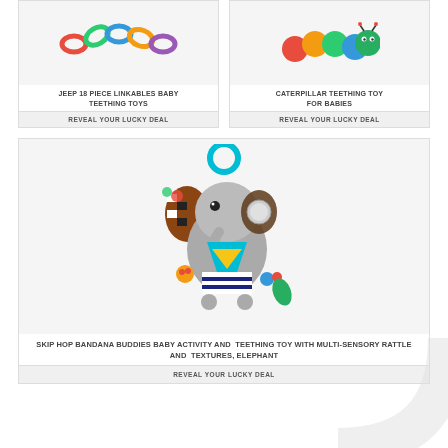[Figure (photo): Jeep 18 piece linkables baby teething toys - colorful chain rings]
JEEP 18 PIECE LINKABLES BABY TEETHING TOYS
REVEAL YOUR LUCKY DEAL
[Figure (photo): Caterpillar teething toy for babies]
CATERPILLAR TEETHING TOY FOR BABIES
REVEAL YOUR LUCKY DEAL
[Figure (photo): Skip Hop Bandana Buddies Baby Activity and Teething Toy - Elephant with multi-sensory rattle and textures]
SKIP HOP BANDANA BUDDIES BABY ACTIVITY AND TEETHING TOY WITH MULTI-SENSORY RATTLE AND TEXTURES, ELEPHANT
REVEAL YOUR LUCKY DEAL